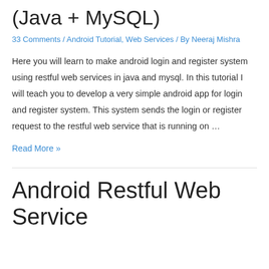(Java + MySQL)
33 Comments / Android Tutorial, Web Services / By Neeraj Mishra
Here you will learn to make android login and register system using restful web services in java and mysql. In this tutorial I will teach you to develop a very simple android app for login and register system. This system sends the login or register request to the restful web service that is running on …
Read More »
Android Restful Web Service